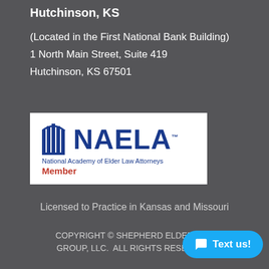Hutchinson, KS
(Located in the First National Bank Building)
1 North Main Street, Suite 419
Hutchinson, KS 67501
[Figure (logo): NAELA - National Academy of Elder Law Attorneys Member logo]
Licensed to Practice in Kansas and Missouri
COPYRIGHT © SHEPHERD ELDER LAW GROUP, LLC.  ALL RIGHTS RESERVED.